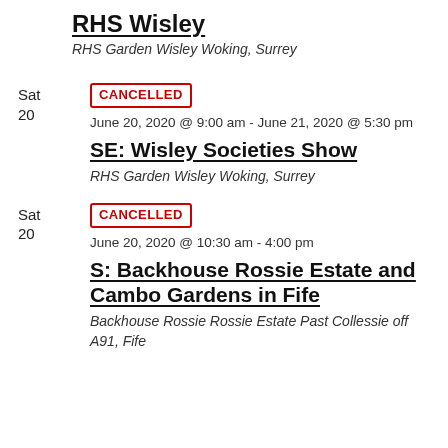RHS Wisley
RHS Garden Wisley Woking, Surrey
CANCELLED
Sat 20
June 20, 2020 @ 9:00 am - June 21, 2020 @ 5:30 pm
SE: Wisley Societies Show
RHS Garden Wisley Woking, Surrey
CANCELLED
Sat 20
June 20, 2020 @ 10:30 am - 4:00 pm
S: Backhouse Rossie Estate and Cambo Gardens in Fife
Backhouse Rossie Rossie Estate Past Collessie off A91, Fife